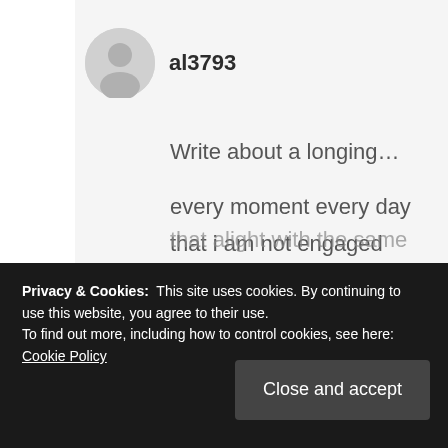[Figure (illustration): Grey circular avatar icon with a generic person silhouette]
al3793
Write about a longing…

every moment every day that i am not engaged with the

demands of my daily darg

i long for you
that alight with the same
Privacy & Cookies:  This site uses cookies. By continuing to use this website, you agree to their use.
To find out more, including how to control cookies, see here: Cookie Policy
Close and accept